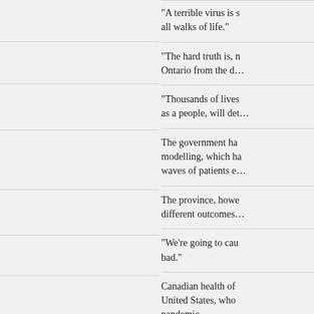“A terrible virus is s all walks of life.”
“The hard truth is, n Ontario from the d…
“Thousands of lives as a people, will det…
The government ha modelling, which ha waves of patients e…
The province, howe different outcomes…
“We’re going to cau bad.”
Canadian health of United States, who pandemic.